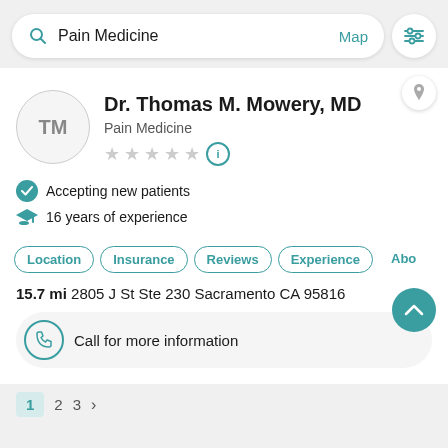[Figure (screenshot): Mobile app search bar showing 'Pain Medicine' query with Map link and filter icon]
Pain Medicine
Map
Dr. Thomas M. Mowery, MD
Pain Medicine
Accepting new patients
16 years of experience
Location  Insurance  Reviews  Experience  Abo
15.7 mi 2805 J St Ste 230 Sacramento CA 95816
Call for more information
1  2  3  >